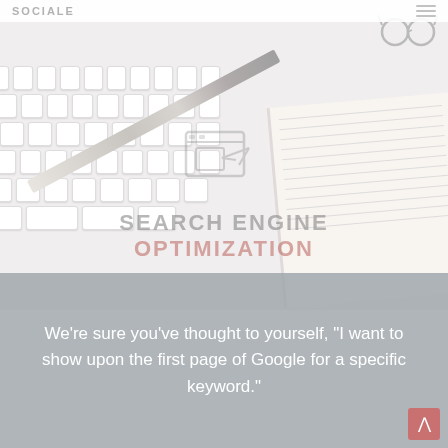SOCIALE
[Figure (photo): Overhead view of a white desk with a white Apple keyboard, a silver pen/stylus, reading glasses in the top-right corner, and an open notebook/book in the bottom-right. Center of the image has a faint browser/email icon overlay. Text overlaid reads 'SEARCH ENGINE' in grey and 'OPTIMIZATION' in muted rose/red.]
We're sure you've thought to yourself, "I want to show upon the first page of Google for a specific keyword."